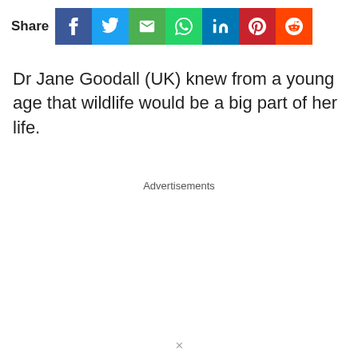[Figure (infographic): Social share bar with Share label and icons for Facebook, Twitter, Email, WhatsApp, LinkedIn, Pinterest, Reddit]
Dr Jane Goodall (UK) knew from a young age that wildlife would be a big part of her life.
Advertisements